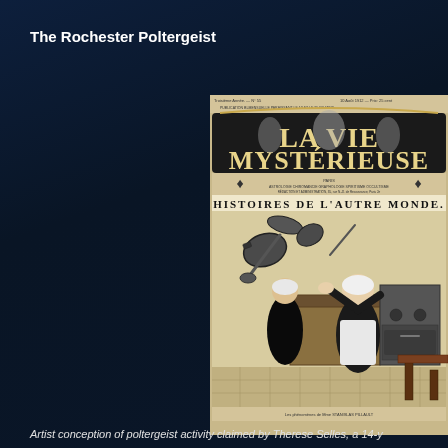The Rochester Poltergeist
[Figure (illustration): Cover of the French periodical 'La Vie Mystérieuse' featuring the masthead and an illustration captioned 'HISTOIRES DE L'AUTRE MONDE' showing kitchen objects flying through the air toward a frightened woman seated at a table.]
Artist conception of poltergeist activity claimed by Therese Selles, a 14-y